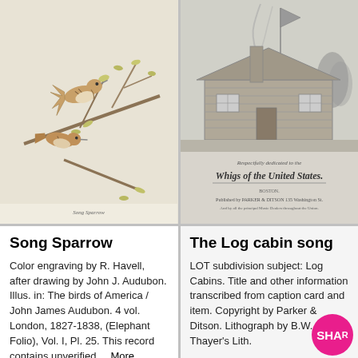[Figure (illustration): Color engraving of two Song Sparrow birds perched on branches with leaves and buds, illustrated by R. Havell after John J. Audubon.]
[Figure (illustration): Black and white engraving/lithograph of a log cabin with a flagpole, trees, and smoke, with decorative text reading 'Whigs of the United States' and 'Published by Parker & Ditson'.]
Song Sparrow
Color engraving by R. Havell, after drawing by John J. Audubon. Illus. in: The birds of America / John James Audubon. 4 vol. London, 1827-1838, (Elephant Folio), Vol. I, Pl. 25. This record contains unverified,... More
The Log cabin song
LOT subdivision subject: Log Cabins. Title and other information transcribed from caption card and item. Copyright by Parker & Ditson. Lithograph by B.W. Thayer's Lith.